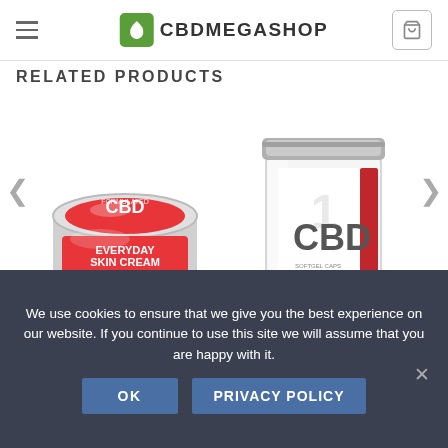CBDMEGASHOP
RELATED PRODUCTS
[Figure (photo): CBD Everyday Skin Cream in a round silver tin with red label]
[Figure (photo): CBD + Curcumin capsules in a glass jar with silver lid, red capsules scattered around]
We use cookies to ensure that we give you the best experience on our website. If you continue to use this site we will assume that you are happy with it.